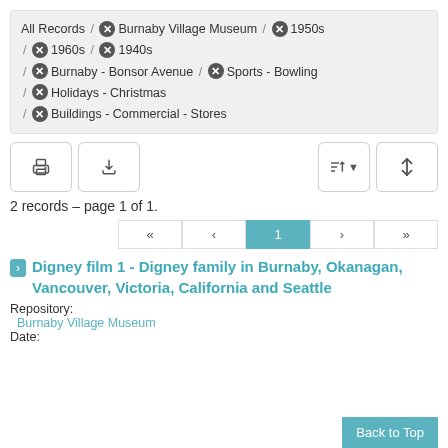All Records / ✖ Burnaby Village Museum / ✖ 1950s / ✖ 1960s / ✖ 1940s / ✖ Burnaby - Bonsor Avenue / ✖ Sports - Bowling / ✖ Holidays - Christmas / ✖ Buildings - Commercial - Stores
2 records – page 1 of 1.
Digney film 1 - Digney family in Burnaby, Okanagan, Vancouver, Victoria, California and Seattle
Repository: Burnaby Village Museum
Date: